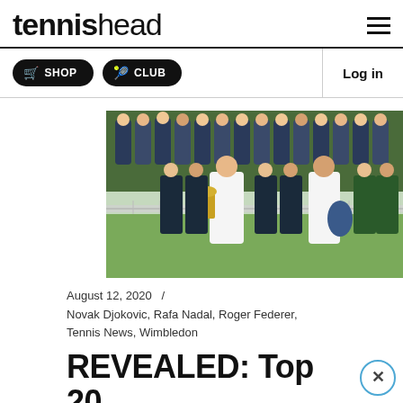tennishead
SHOP   CLUB   Log in
[Figure (photo): Two tennis players near net at Wimbledon — one holding a golden trophy, the other holding a bag, with officials and spectators in the background on a grass court.]
August 12, 2020   /
Novak Djokovic, Rafa Nadal, Roger Federer, Tennis News, Wimbledon
REVEALED: Top 20